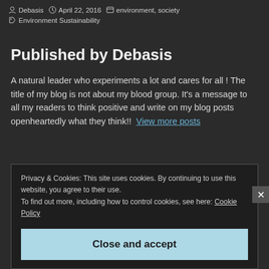Debasis  April 22, 2016  environment, society  Environment Sustainability
Published by Debasis
A natural leader who experiments a lot and cares for all ! The title of my blog is not about my blood group. It's a message to all my readers to think positive and write on my blog posts openheartedly what they think!!  View more posts
Privacy & Cookies: This site uses cookies. By continuing to use this website, you agree to their use.
To find out more, including how to control cookies, see here: Cookie Policy
Close and accept